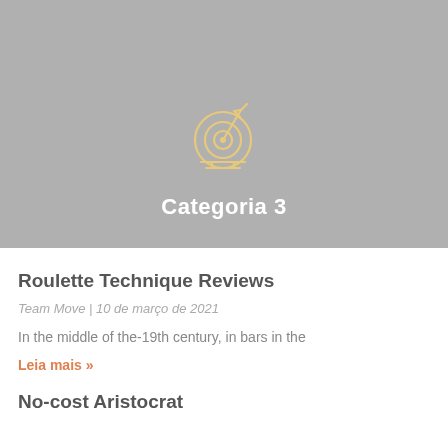[Figure (illustration): Target/bullseye icon in light golden yellow outline style on gray background]
Categoria 3
Roulette Technique Reviews
Team Move | 10 de março de 2021
In the middle of the-19th century, in bars in the
Leia mais »
No-cost Aristocrat